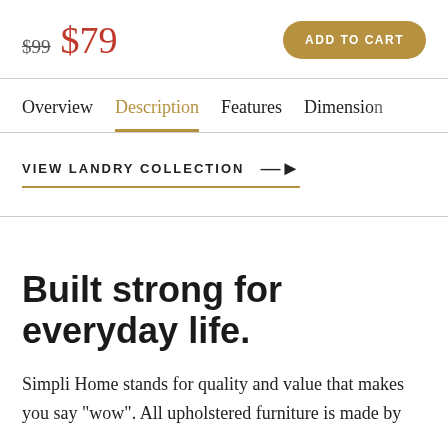$99  $79  ADD TO CART
Overview  Description  Features  Dimensions
VIEW LANDRY COLLECTION →
Built strong for everyday life.
Simpli Home stands for quality and value that makes you say "wow". All upholstered furniture is made by